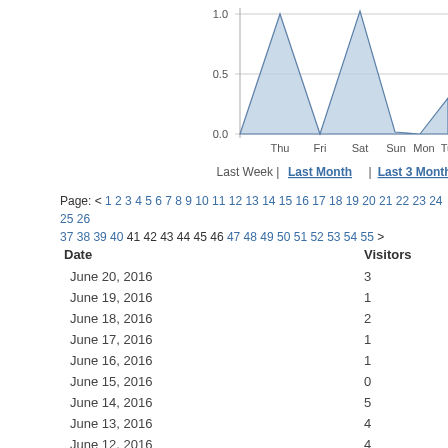[Figure (area-chart): Last Week | Last Month | Last 3 Months]
Page: < 1 2 3 4 5 6 7 8 9 10 11 12 13 14 15 16 17 18 19 20 21 22 23 24 25 26 37 38 39 40 41 42 43 44 45 46 47 48 49 50 51 52 53 54 55 >
| Date | Visitors |
| --- | --- |
| June 20, 2016 | 3 |
| June 19, 2016 | 1 |
| June 18, 2016 | 2 |
| June 17, 2016 | 1 |
| June 16, 2016 | 1 |
| June 15, 2016 | 0 |
| June 14, 2016 | 5 |
| June 13, 2016 | 4 |
| June 12, 2016 | 4 |
| June 11, 2016 | 3 |
| June 10, 2016 | 0 |
| June 9, 2016 | 2 |
| June 8, 2016 | 1 |